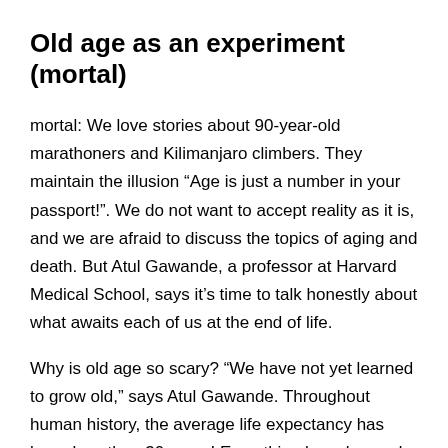Old age as an experiment (mortal)
mortal: We love stories about 90-year-old marathoners and Kilimanjaro climbers. They maintain the illusion “Age is just a number in your passport!”. We do not want to accept reality as it is, and we are afraid to discuss the topics of aging and death. But Atul Gawande, a professor at Harvard Medical School, says it’s time to talk honestly about what awaits each of us at the end of life.
Why is old age so scary? “We have not yet learned to grow old,” says Atul Gawande. Throughout human history, the average life expectancy has been less than 30 years! Everything has changed in a couple of centuries. People have not yet adapted to the new reality, in which death from old age is a common thing, not a